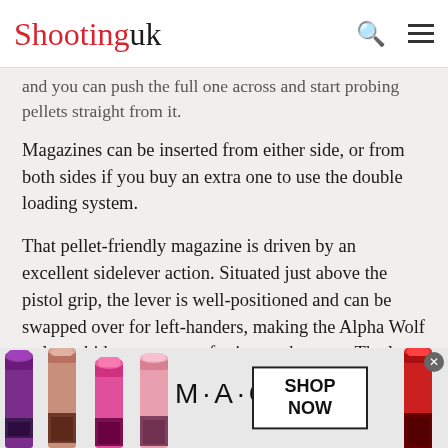Shooting uk
and you can push the full one across and start probing pellets straight from it.
Magazines can be inserted from either side, or from both sides if you buy an extra one to use the double loading system.
That pellet-friendly magazine is driven by an excellent sidelever action. Situated just above the pistol grip, the lever is well-positioned and can be swapped over for left-handers, making the Alpha Wolf truly ambidextrous, save for its touchscreen. The lever is adorned with a large dropdown handle, the operation of which quickly becomes a subconscious action.
[Figure (photo): MAC cosmetics advertisement banner showing multiple lipsticks in purple, pink, and red colors with the MAC logo and a SHOP NOW button]